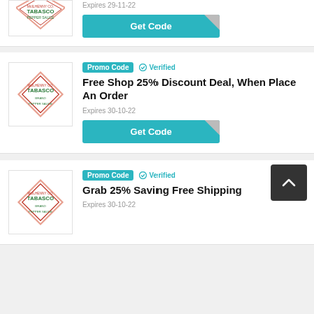[Figure (logo): Tabasco brand pepper sauce diamond logo (partial, top cropped)]
Expires 29-11-22
[Figure (other): Get Code teal button with folded corner]
[Figure (logo): Tabasco brand pepper sauce diamond logo]
Promo Code   Verified
Free Shop 25% Discount Deal, When Place An Order
Expires 30-10-22
[Figure (other): Get Code teal button with folded corner]
[Figure (logo): Tabasco brand pepper sauce diamond logo]
Promo Code   Verified
Grab 25% Saving Free Shipping
Expires 30-10-22